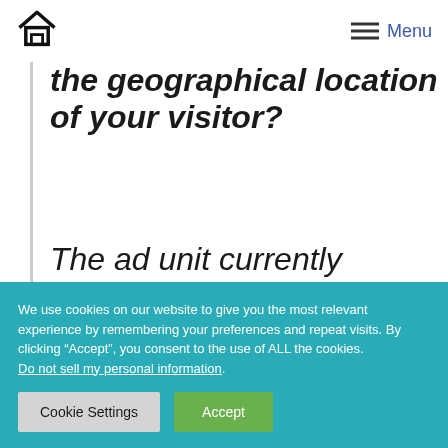Home | Menu
the geographical location of your visitor?
The ad unit currently shows products only from Amazon.com and does not
We use cookies on our website to give you the most relevant experience by remembering your preferences and repeat visits. By clicking “Accept”, you consent to the use of ALL the cookies.
Do not sell my personal information.